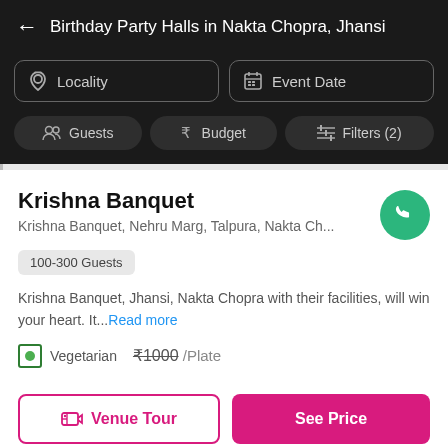← Birthday Party Halls in Nakta Chopra, Jhansi
Locality
Event Date
Guests
Budget
Filters (2)
Krishna Banquet
Krishna Banquet, Nehru Marg, Talpura, Nakta Ch...
100-300 Guests
Krishna Banquet, Jhansi, Nakta Chopra with their facilities, will win your heart. It...Read more
Vegetarian ₹1000 /Plate
Venue Tour
See Price